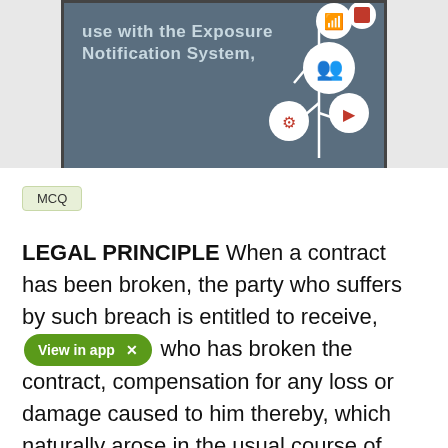[Figure (screenshot): A dark blue-grey presentation slide showing text 'use with the Exposure Notification System,' with network/social icons (people, share, clock, arrow) connected by white lines on the right side]
MCQ
LEGAL PRINCIPLE When a contract has been broken, the party who suffers by such breach is entitled to receive, [View in app] who has broken the contract, compensation for any loss or damage caused to him thereby, which naturally arose in the usual course of things from such breach. or which the parties knew, when they made the contract to be likely to result from the breach of it. Such